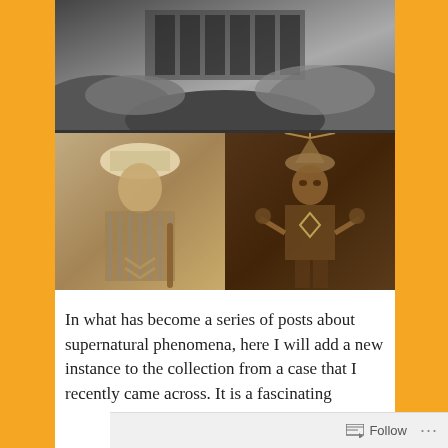[Figure (photo): Collage of three black-and-white and sepia historical photographs. Top: a black-and-white photo of a rocky canyon landscape with stone structures or cliff dwellings. Bottom-left: a sepia portrait of a Native American person in traditional dress with a wide-brimmed hat, holding a staff. Bottom-right: a sepia photo of a person in elaborate ceremonial costume with headdress holding objects.]
In what has become a series of posts about supernatural phenomena, here I will add a new instance to the collection from a case that I recently came across. It is a fascinating